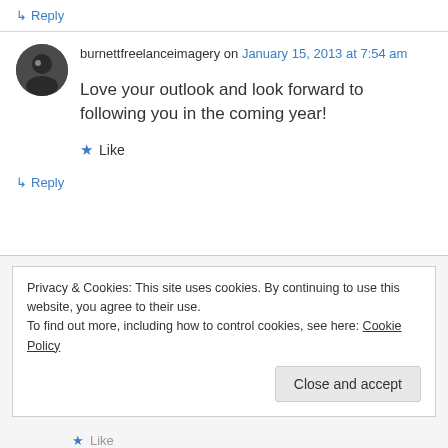↳ Reply
burnettfreelanceimagery on January 15, 2013 at 7:54 am
Love your outlook and look forward to following you in the coming year!
★ Like
↳ Reply
Privacy & Cookies: This site uses cookies. By continuing to use this website, you agree to their use. To find out more, including how to control cookies, see here: Cookie Policy
Close and accept
★ Like